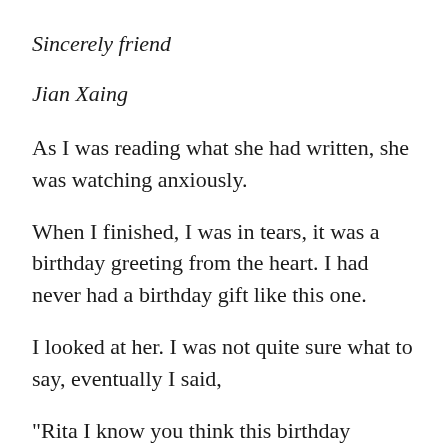Sincerely friend
Jian Xaing
As I was reading what she had written, she was watching anxiously.
When I finished, I was in tears, it was a birthday greeting from the heart. I had never had a birthday gift like this one.
I looked at her. I was not quite sure what to say, eventually I said,
"Rita I know you think this birthday present is not very good one, but I want to tell you, I know it comes from your heart. I really appreciate what you have written to me, you know, it's not the cost of the